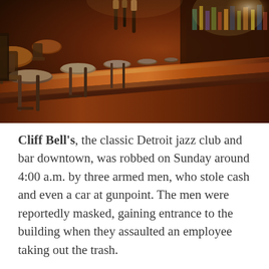[Figure (photo): Interior of Cliff Bell's jazz club bar showing a long wooden bar counter with bar stools, warm amber/red lighting, and a well-stocked bar in the background.]
Cliff Bell's, the classic Detroit jazz club and bar downtown, was robbed on Sunday around 4:00 a.m. by three armed men, who stole cash and even a car at gunpoint. The men were reportedly masked, gaining entrance to the building when they assaulted an employee taking out the trash.